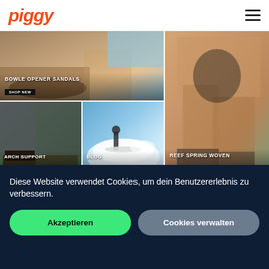piggy
[Figure (screenshot): E-commerce website screenshot showing Reef sandals product images grid. Top left image shows 'BOWLE OPENER SANDALS' with a 'SHOP NEW' button. Top right / full right column shows a woman in a swimsuit wearing sandals outdoors - 'REEF SPRING WOVEN' with 'SHOP WOMEN' button. Bottom left shows sandal arch support - 'ARCH SUPPORT' with 'MEN' button. Bottom center shows a surfer on a wave - 'BLOG' with 'READ MORE' button.]
Diese Website verwendet Cookies, um dein Benutzererlebnis zu verbessern.
Akzeptieren
Cookies verwalten